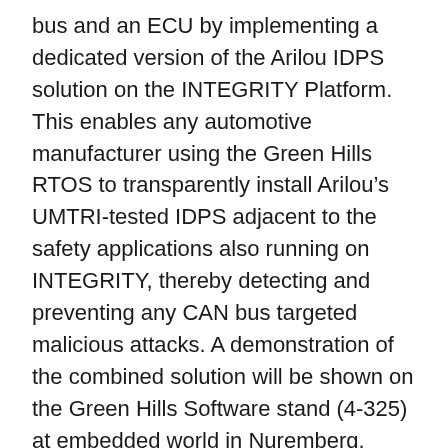bus and an ECU by implementing a dedicated version of the Arilou IDPS solution on the INTEGRITY Platform. This enables any automotive manufacturer using the Green Hills RTOS to transparently install Arilou's UMTRI-tested IDPS adjacent to the safety applications also running on INTEGRITY, thereby detecting and preventing any CAN bus targeted malicious attacks. A demonstration of the combined solution will be shown on the Green Hills Software stand (4-325) at embedded world in Nuremberg.
“We are more than excited to provide our CAN bus security capabilities for Green Hills Software, who have an incredible background in the automotive industry,” commented Ziv Levi, Founder and CEO of Arilou. “We see the huge challenge cyber security means for the automotive industry and we believe that the right approach is to form partnerships like